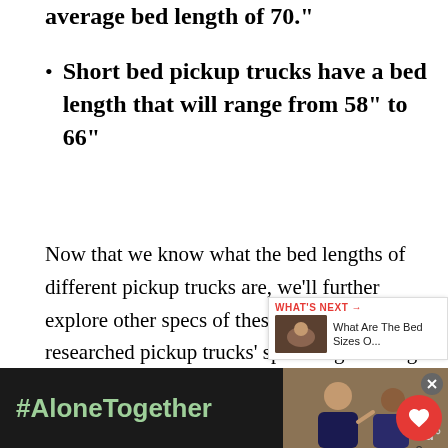Short bed pickup trucks have a bed length that will range from 58" to 66"
Now that we know what the bed lengths of different pickup trucks are, we'll further explore other specs of these vehicles. We've researched pickup trucks' specs at great length and have provided our findings to you throughout this post. Does the bed length affect payload capacity? How wide is a pickup truck's bed? What happens if I overload my pickup truck? To find out the answers to these questions and more, read ahead in this post.
[Figure (screenshot): Social sharing overlay with heart button showing count 2 and share button]
[Figure (screenshot): What's Next promotional widget showing 'What Are The Bed Sizes O...' with thumbnail]
[Figure (screenshot): Advertisement banner with dark background showing '#AloneTogether' text in green and people image]